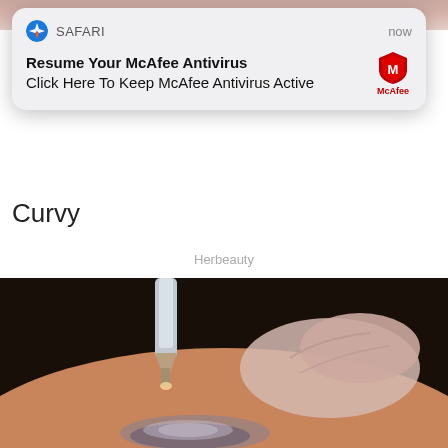[Figure (photo): Top portion of a webpage showing a partial image at the top (skin/body tones), followed by a Safari push notification overlay from McAfee Antivirus, partial text 'Curvy', a Herbeauty label, and a large photo of a tattoo removal laser procedure being performed on skin.]
SAFARI    now
Resume Your McAfee Antivirus
Click Here To Keep McAfee Antivirus Active
Curvy
Herbeauty